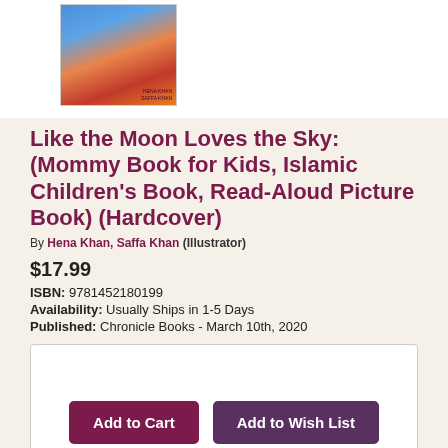[Figure (photo): Book cover of 'Like the Moon Loves the Sky' showing a colorful illustration with warm orange, blue and red tones, with author credits at the bottom right]
Like the Moon Loves the Sky: (Mommy Book for Kids, Islamic Children's Book, Read-Aloud Picture Book) (Hardcover)
By Hena Khan, Saffa Khan (Illustrator)
$17.99
ISBN: 9781452180199
Availability: Usually Ships in 1-5 Days
Published: Chronicle Books - March 10th, 2020